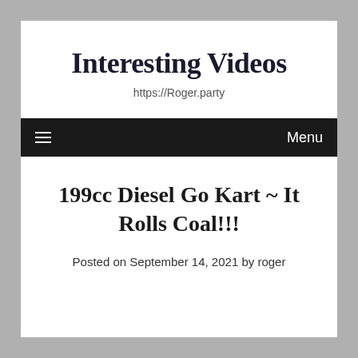Interesting Videos
https://Roger.party
≡  Menu
199cc Diesel Go Kart ~ It Rolls Coal!!!
Posted on September 14, 2021 by roger